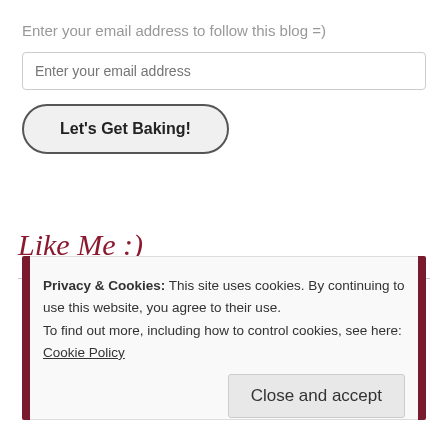Enter your email address to follow this blog =)
Enter your email address
Let's Get Baking!
Like Me :)
Privacy & Cookies: This site uses cookies. By continuing to use this website, you agree to their use.
To find out more, including how to control cookies, see here:
Cookie Policy
Close and accept